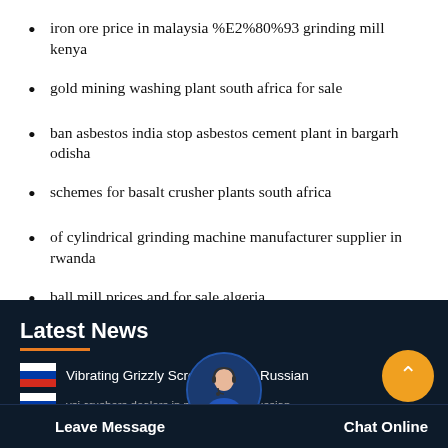iron ore price in malaysia %E2%80%93 grinding mill kenya
gold mining washing plant south africa for sale
ban asbestos india stop asbestos cement plant in bargarh odisha
schemes for basalt crusher plants south africa
of cylindrical grinding machine manufacturer supplier in rwanda
ball mill prices and for sale algeria
Latest News
Vibrating Grizzly Screen in Coal Russian
vsi crushers dealers in moscow coal russian
Leave Message
Chat Online